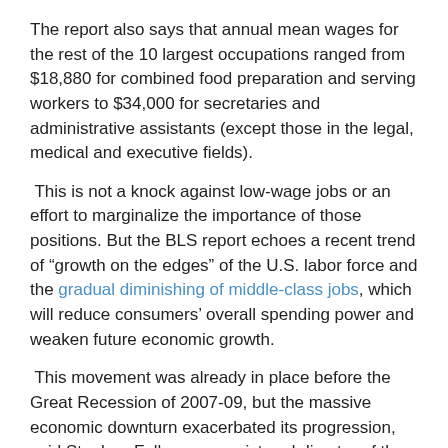The report also says that annual mean wages for the rest of the 10 largest occupations ranged from $18,880 for combined food preparation and serving workers to $34,000 for secretaries and administrative assistants (except those in the legal, medical and executive fields).
This is not a knock against low-wage jobs or an effort to marginalize the importance of those positions. But the BLS report echoes a recent trend of “growth on the edges” of the U.S. labor force and the gradual diminishing of middle-class jobs, which will reduce consumers’ overall spending power and weaken future economic growth.
This movement was already in place before the Great Recession of 2007-09, but the massive economic downturn exacerbated its progression, said Stephen Fuller, economist and director of the Center for Regional Analysis at George Mason University in Fairfax, Va.
Regarding job growth in the Washington, D.C., region, which could take one of the cards of higher...